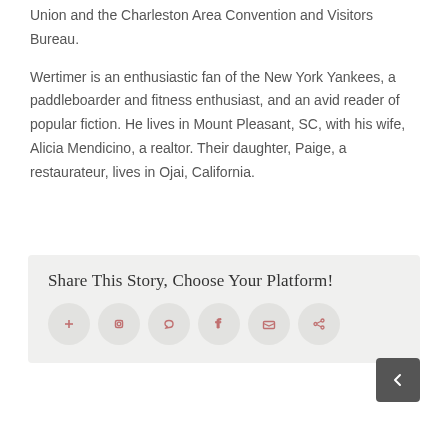Union and the Charleston Area Convention and Visitors Bureau.
Wertimer is an enthusiastic fan of the New York Yankees, a paddleboarder and fitness enthusiast, and an avid reader of popular fiction. He lives in Mount Pleasant, SC, with his wife, Alicia Mendicino, a realtor. Their daughter, Paige, a restaurateur, lives in Ojai, California.
Share This Story, Choose Your Platform!
[Figure (infographic): Six circular social sharing icon buttons in a row on a light grey background]